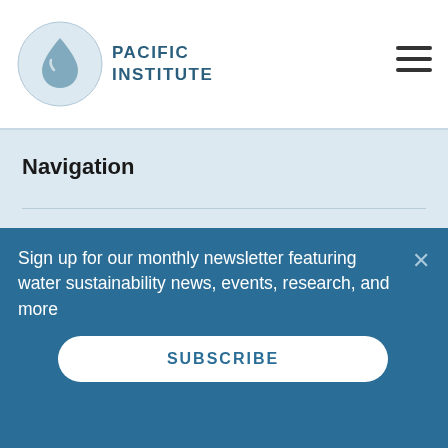PACIFIC INSTITUTE
Navigation
Our Work
In the News
About
Sign up for our monthly newsletter featuring water sustainability news, events, research, and more
SUBSCRIBE